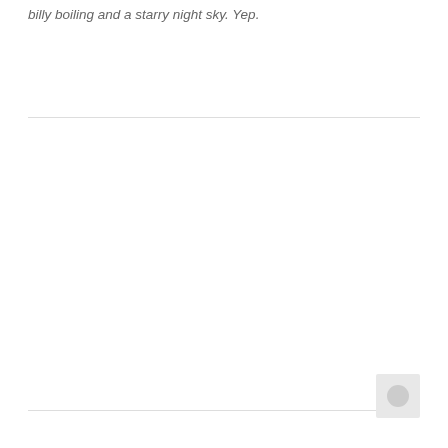billy boiling and a starry night sky. Yep.
[Figure (other): Thumbnail image placeholder, small circular icon within a light grey rounded rectangle box in the bottom right area of the page]